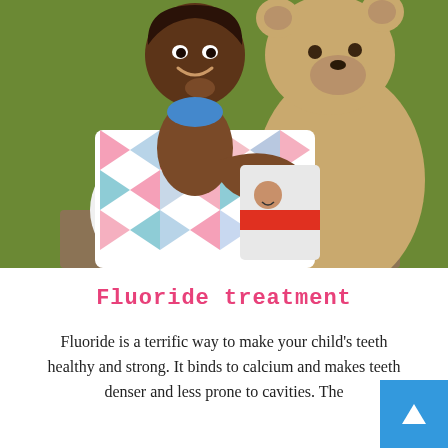[Figure (photo): A smiling young girl in a colorful patchwork dress (pink, teal, white zigzag pattern) sitting and hugging a large tan teddy bear. She holds a bag with a child's image on it. Background is olive/green.]
Fluoride treatment
Fluoride is a terrific way to make your child's teeth healthy and strong. It binds to calcium and makes teeth denser and less prone to cavities. The